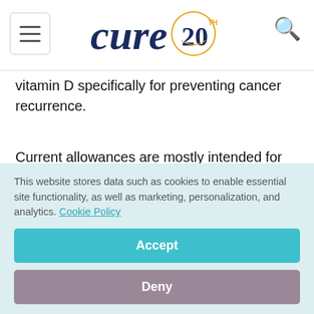cure 20th anniversary logo header
vitamin D specifically for preventing cancer recurrence.
Current allowances are mostly intended for maintaining bone health and other physiologic functions. Talk to your doctor about the recommended daily allowance, which should be
This website stores data such as cookies to enable essential site functionality, as well as marketing, personalization, and analytics. Cookie Policy
Accept
Deny